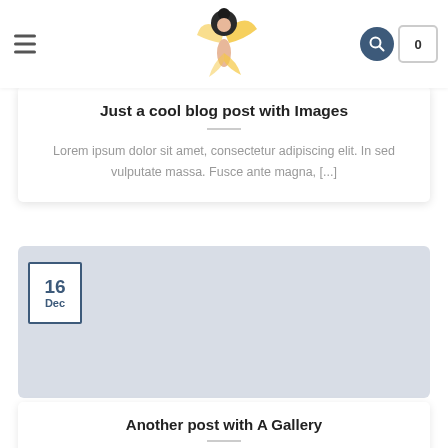[Figure (logo): Fairy/pixie character logo with golden wings, centered in navigation header]
Just a cool blog post with Images
Lorem ipsum dolor sit amet, consectetur adipiscing elit. In sed vulputate massa. Fusce ante magna, [...]
[Figure (photo): Light blue-grey placeholder image area with date badge showing 16 Dec]
Another post with A Gallery
Lorem ipsum dolor sit amet, consectetur adipiscing elit. In sed